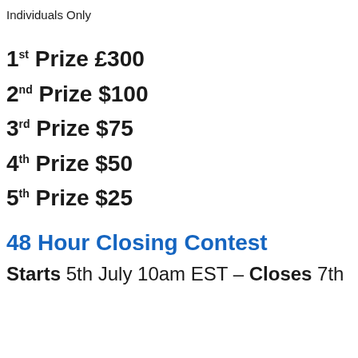Individuals Only
1st Prize £300
2nd Prize $100
3rd Prize $75
4th Prize $50
5th Prize $25
48 Hour Closing Contest
Starts 5th July 10am EST – Closes 7th